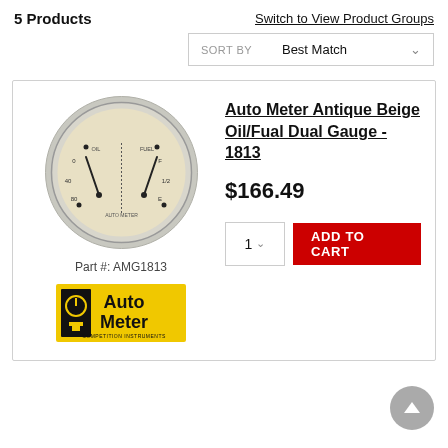5 Products
Switch to View Product Groups
SORT BY   Best Match
[Figure (photo): Auto Meter Antique Beige Oil/Fuel Dual Gauge - circular gauge with beige face showing oil pressure and fuel level indicators]
Part #: AMG1813
[Figure (logo): Auto Meter Competition Instruments yellow and black logo]
Auto Meter Antique Beige Oil/Fual Dual Gauge - 1813
$166.49
1  ADD TO CART